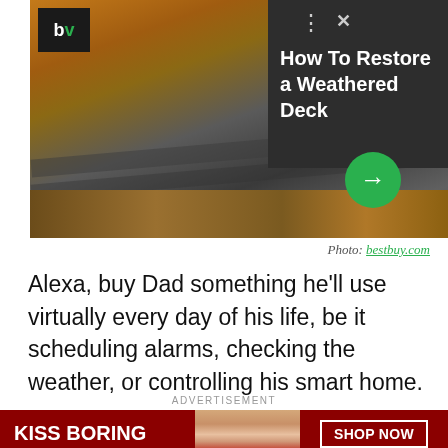[Figure (screenshot): Screenshot of a webpage showing an ad for a weathered deck restoration with a deck photo, BV logo, dark panel with text 'How To Restore a Weathered Deck', and a green arrow button]
Photo: bestbuy.com
Alexa, buy Dad something he'll use virtually every day of his life, be it scheduling alarms, checking the weather, or controlling his smart home.
ADVERTISEMENT
[Figure (photo): Advertisement banner: KISS BORING LIPS GOODBYE — photo of woman's face with red lips — SHOP NOW button — macys logo]